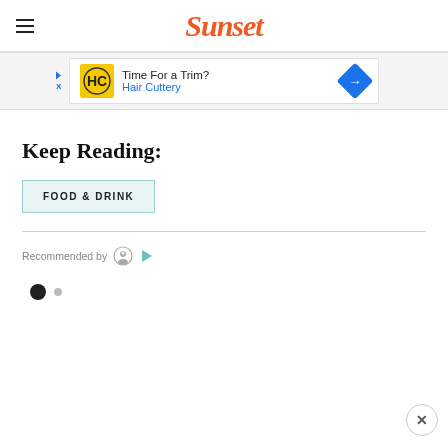Sunset
[Figure (other): Hair Cuttery advertisement banner: 'Time For a Trim? Hair Cuttery']
Keep Reading:
FOOD & DRINK
Recommended by
[Figure (other): Pagination dots: one filled dark circle and one small grey circle]